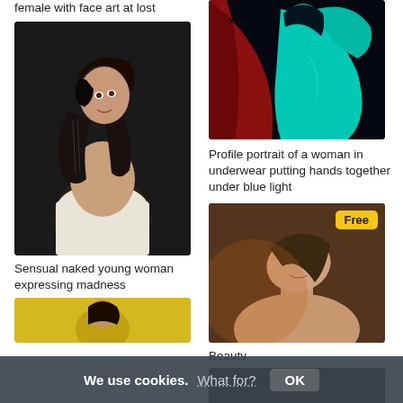female with face art at lost
[Figure (photo): Sensual young woman with black gloves covering face, wrapped in white cloth, dark background]
Sensual naked young woman expressing madness
[Figure (photo): Woman with teal/cyan body paint against dark background with red fabric]
Profile portrait of a woman in underwear putting hands together under blue light
[Figure (photo): Woman with eyes closed, head tilted back, warm lighting, Free badge]
Beauty
We use cookies. What for? OK